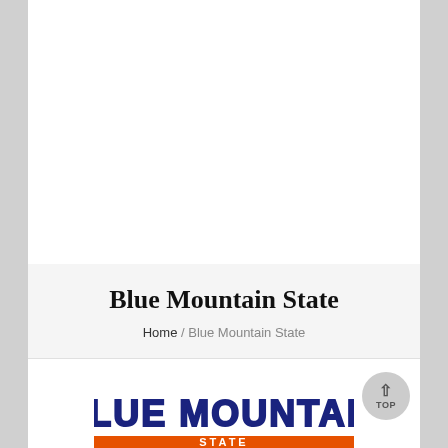Blue Mountain State
Home / Blue Mountain State
[Figure (logo): Blue Mountain State logo with bold text in blue and orange collegiate style lettering]